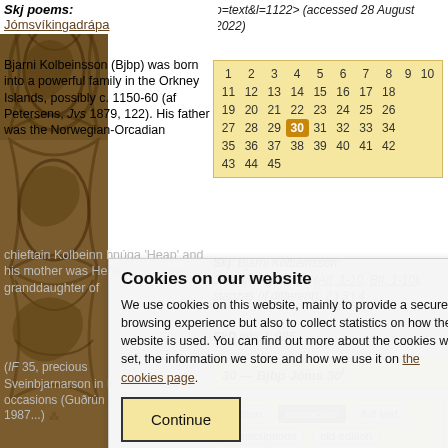[Figure (illustration): Decorative Norse/Celtic knotwork illustration in brown tones on left panel]
Skj poems: Jómsvíkingadrápa
Bjarni Kolbeinsson (Bjbp) was born into a powerful family in the Orkney Islands, possibly c. 1150-60 (af Petersens, Jvs 1879, 122). His father was the Norwegian-Orcadian chieftain Kolbeinn hnúga 'Heap' and his mother was Herborg, a great-granddaughter of
p=text&l=1122> (accessed 28 August 2022)
| 1 | 2 | 3 | 4 | 5 | 6 | 7 | 8 | 9 | 10 |
| 11 | 12 | 13 | 14 | 15 | 16 | 17 | 18 |
| 19 | 20 | 21 | 22 | 23 | 24 | 25 | 26 |
| 27 | 28 | 29 | 30 | 31 | 32 | 33 | 34 |
| 35 | 36 | 37 | 38 | 39 | 40 | 41 | 42 |
| 43 | 44 | 45 |
Skj: Bjarni Kolbeinsson: Jómsvíkingadrápa (AII, 1-10, BII, 1-10); stanzas (if different): 2 | 3 | 4
SkP info: I, 985
Cookies on our website
We use cookies on this website, mainly to provide a secure browsing experience but also to collect statistics on how the website is used. You can find out more about the cookies we set, the information we store and how we use it on the cookies page.
Continue
30 — Bjbp Jóms 30l
edition | interactive | full text | transcriptions | old edition | references | concordance